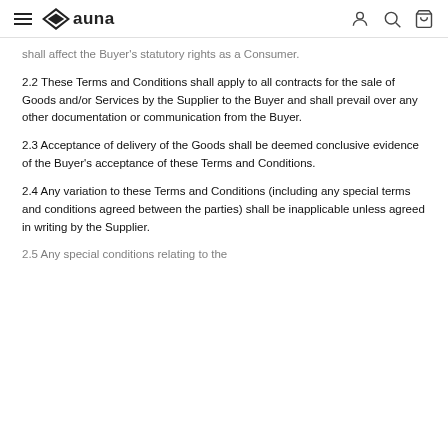auna — navigation header with hamburger menu, logo, user, search, and cart icons
shall affect the Buyer's statutory rights as a Consumer.
2.2 These Terms and Conditions shall apply to all contracts for the sale of Goods and/or Services by the Supplier to the Buyer and shall prevail over any other documentation or communication from the Buyer.
2.3 Acceptance of delivery of the Goods shall be deemed conclusive evidence of the Buyer's acceptance of these Terms and Conditions.
2.4 Any variation to these Terms and Conditions (including any special terms and conditions agreed between the parties) shall be inapplicable unless agreed in writing by the Supplier.
2.5 Any special conditions relating to the...